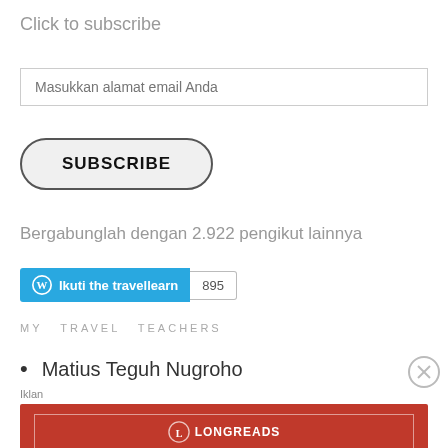Click to subscribe
Masukkan alamat email Anda
[Figure (other): SUBSCRIBE button with rounded rectangle border]
Bergabunglah dengan 2.922 pengikut lainnya
[Figure (other): WordPress follow widget: blue 'Ikuti the travellearn' button with count badge showing 895]
MY TRAVEL TEACHERS
Matius Teguh Nugroho
Iklan
[Figure (other): Longreads advertisement banner in red: 'The best stories on the web — ours, and everyone else's.']